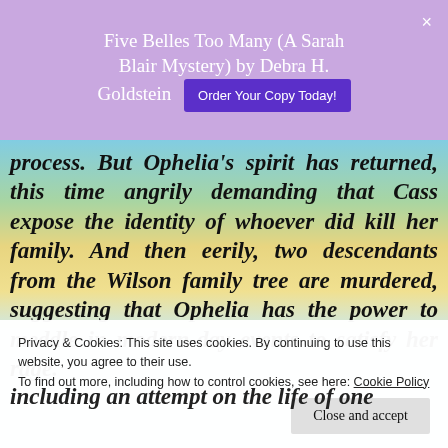Five Belles Too Many (A Sarah Blair Mystery) by Debra H. Goldstein  Order Your Copy Today!
process. But Ophelia's spirit has returned, this time angrily demanding that Cass expose the identity of whoever did kill her family. And then eerily, two descendants from the Wilson family tree are murdered, suggesting that Ophelia has the power to meddle in modern-day events to satisfy her rage.
Privacy & Cookies: This site uses cookies. By continuing to use this website, you agree to their use. To find out more, including how to control cookies, see here: Cookie Policy
Close and accept
including an attempt on the life of one